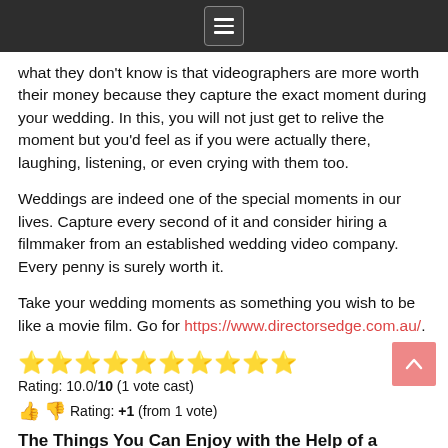[Navigation menu icon]
what they don't know is that videographers are more worth their money because they capture the exact moment during your wedding. In this, you will not just get to relive the moment but you'd feel as if you were actually there, laughing, listening, or even crying with them too.
Weddings are indeed one of the special moments in our lives. Capture every second of it and consider hiring a filmmaker from an established wedding video company. Every penny is surely worth it.
Take your wedding moments as something you wish to be like a movie film. Go for https://www.directorsedge.com.au/.
[Figure (other): Ten yellow star emoji rating icons in a row]
Rating: 10.0/10 (1 vote cast)
👍 👎 Rating: +1 (from 1 vote)
The Things You Can Enjoy with the Help of a Wedding